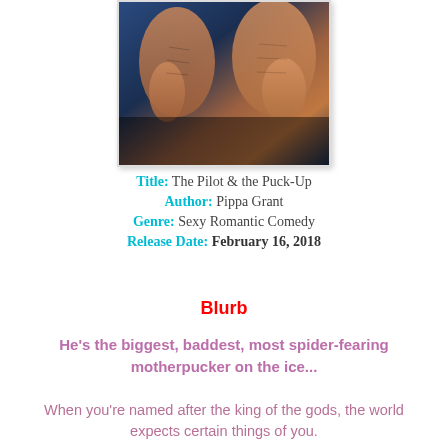[Figure (illustration): Book cover for 'The Pilot & the Puck-Up' by Pippa Grant, showing muscular male torso with blue background, author name in large white uppercase letters at bottom]
Title: The Pilot & the Puck-Up
Author: Pippa Grant
Genre: Sexy Romantic Comedy
Release Date: February 16, 2018
Blurb
He's the biggest, baddest, most spider-fearing motherpucker on the ice...
When you're named after the king of the gods, the world expects certain things of you.